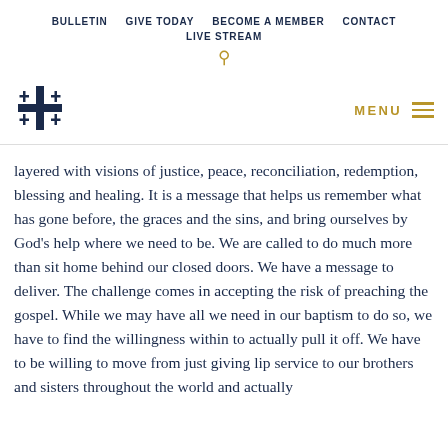BULLETIN   GIVE TODAY   BECOME A MEMBER   CONTACT   LIVE STREAM
[Figure (logo): Jerusalem cross logo (cross with four smaller crosses in quadrants), navy blue]
MENU
layered with visions of justice, peace, reconciliation, redemption, blessing and healing. It is a message that helps us remember what has gone before, the graces and the sins, and bring ourselves by God's help where we need to be. We are called to do much more than sit home behind our closed doors. We have a message to deliver. The challenge comes in accepting the risk of preaching the gospel. While we may have all we need in our baptism to do so, we have to find the willingness within to actually pull it off. We have to be willing to move from just giving lip service to our brothers and sisters throughout the world and actually